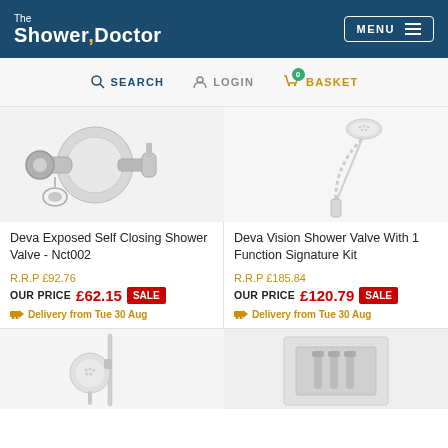The Shower Doctor — MENU
SEARCH  LOGIN  BASKET 0
[Figure (photo): Close-up of chrome shower valve fitting - Deva Exposed Self Closing Shower Valve Nct002]
Deva Exposed Self Closing Shower Valve - Nct002
R.R.P £92.76
OUR PRICE £62.15 SALE
Delivery from Tue 30 Aug
[Figure (photo): White shower hose and head on white background - Deva Vision Shower Valve With 1 Function Signature Kit]
Deva Vision Shower Valve With 1 Function Signature Kit
R.R.P £185.84
OUR PRICE £120.79 SALE
Delivery from Tue 30 Aug
[Figure (photo): Round hand shower head on slide rail — bottom left product]
[Figure (photo): Square wall-mounted shower controls — bottom right product]